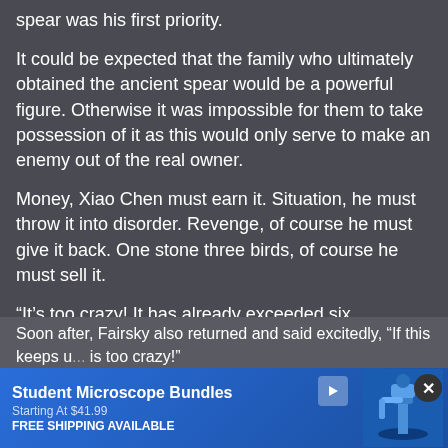spear was his first priority.
It could be expected that the family who ultimately obtained the ancient spear would be a powerful figure. Otherwise it was impossible for them to take possession of it as this would only serve to make an enemy out of the real owner.
Money, Xiao Chen must earn it. Situation, he must throw it into disorder. Revenge, of course he must give it back. One stone three birds, of course he must sell it.
“It’s too crazy! It has already exceeded six hundred thousand gold coins!” Zhuge fatty was very excited. The fat meat all over his body was trembling as he rushed in.
Soon after, Fairsky also returned and said excitedly, “If this keeps u... is too crazy!”
[Figure (screenshot): Advertisement banner for Student Microscope Bundles starting at $41.99 with free shipping available, showing a microscope image on the right side, a play button, and a close (X) button.]